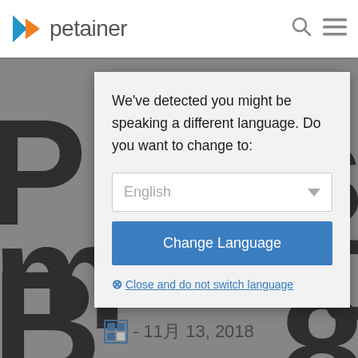[Figure (screenshot): Petainer website header with logo (blue and orange play-button triangle icon followed by 'petainer' text), search icon, and hamburger menu icon on white background.]
We've detected you might be speaking a different language. Do you want to change to:
[Figure (screenshot): A dropdown selector showing 'English' with a gray downward triangle arrow, inside a white rounded-border box.]
Change Language
Close and do not switch language
- 11月 13, 2018